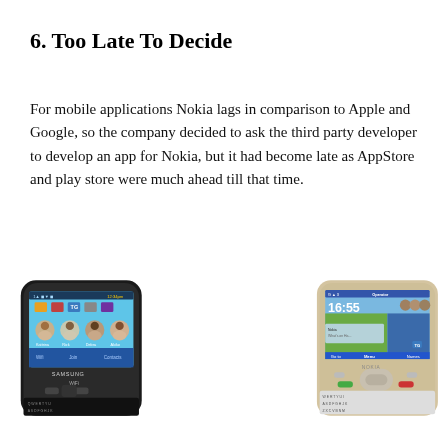6. Too Late To Decide
For mobile applications Nokia lags in comparison to Apple and Google, so the company decided to ask the third party developer to develop an app for Nokia, but it had become late as AppStore and play store were much ahead till that time.
[Figure (photo): Two mobile phones side by side: a Samsung phone (left, dark/black QWERTY keyboard phone with touchscreen showing social contacts) and a Nokia phone (right, beige/gold QWERTY keyboard phone with screen showing 16:55 time and Operator)]